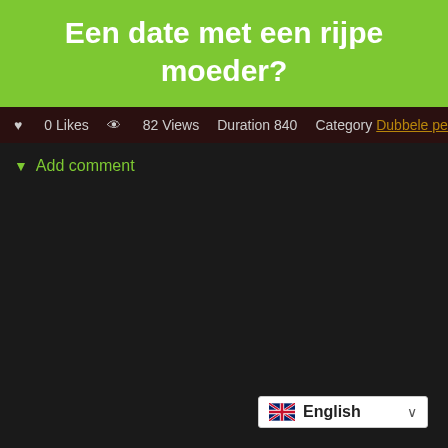Een date met een rijpe moeder?
0 Likes  82 Views  Duration 840  Category Dubbele penetratie
▼ Add comment
English